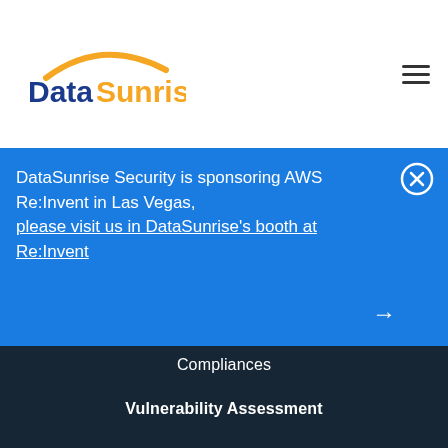[Figure (logo): DataSunrise logo with orange arc above text. 'Data' in dark blue bold, 'Sunrise' in orange bold.]
DataSunrise Security is sponsoring AWS Re:Invent in Las Vegas,
please visit us in DataSunrise's booth at Re:Invent
Compliances
Vulnerability Assessment
CLOUD DATABASE SECURITY
Secure Clouds